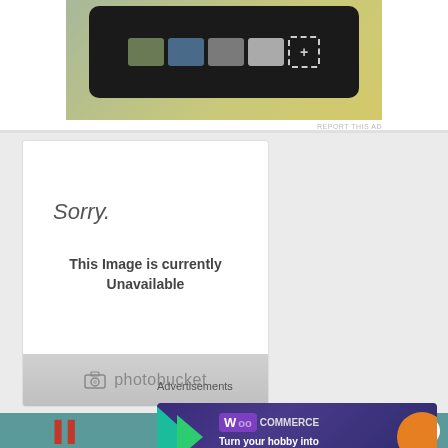[Figure (screenshot): Top advertisement showing a phone mockup with photo thumbnails on a green-yellow gradient background]
REPORT THIS AD
[Figure (screenshot): Photobucket 'Sorry. This Image is currently Unavailable' placeholder box with Photobucket logo in gray footer]
[Figure (screenshot): Teal banner with red stylized text blocks and a close (X) button]
Advertisements
[Figure (screenshot): WooCommerce advertisement banner: 'Turn your hobby into a business in 8 steps' on dark purple background with colorful geometric shapes]